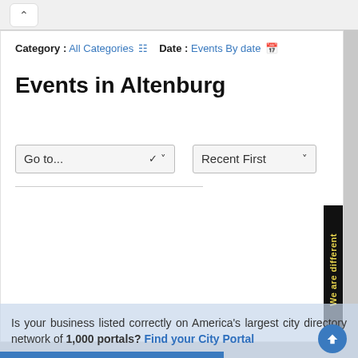Category : All Categories  Date : Events By date
Events in Altenburg
[Figure (screenshot): Two dropdown controls: 'Go to...' on the left and 'Recent First' on the right]
[Figure (infographic): Side tab with yellow text on black background reading 'We are different']
Is your business listed correctly on America's largest city directory network of 1,000 portals? Find your City Portal